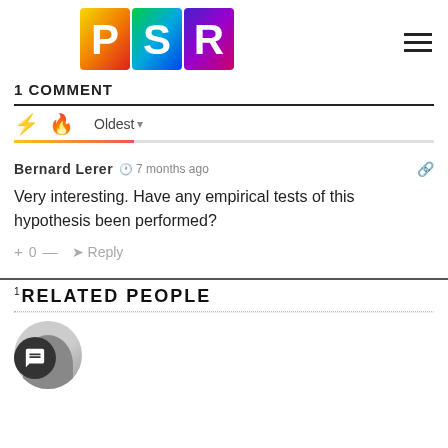[Figure (logo): PSR logo with colorful gradient squares containing white letters P, S, R]
1 COMMENT
Oldest
Bernard Lerer · 7 months ago
Very interesting. Have any empirical tests of this hypothesis been performed?
+ 0 — Reply
RELATED PEOPLE
[Figure (photo): Partial circular avatar photo of a person, cropped at bottom of page]